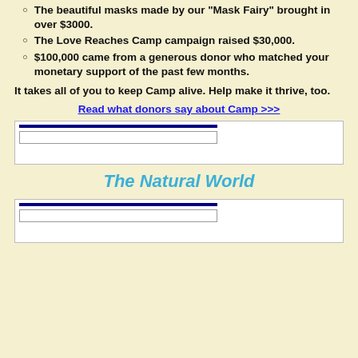The beautiful masks made by our “Mask Fairy” brought in over $3000.
The Love Reaches Camp campaign raised $30,000.
$100,000 came from a generous donor who matched your monetary support of the past few months.
It takes all of you to keep Camp alive. Help make it thrive, too.
Read what donors say about Camp >>>
[Figure (other): Form input box with dark blue double top border and a lighter inner field, on white background]
The Natural World
[Figure (other): Form input box with dark blue double top border and a lighter inner field, on white background]